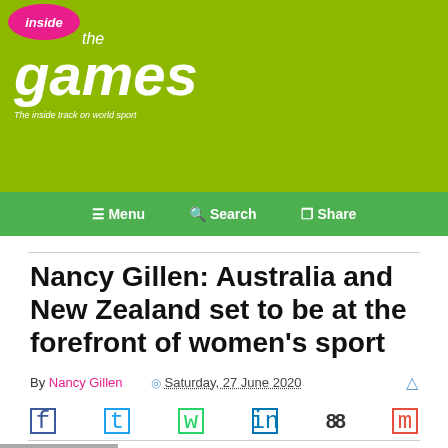[Figure (logo): Inside the Games logo on green background - pink circle with 'inside' text, italic 'the games' in white, tagline 'The inside track on world sport']
Menu   Search   Share
Nancy Gillen: Australia and New Zealand set to be at the forefront of women's sport
By Nancy Gillen   Saturday, 27 June 2020
Social sharing icons row
Gianni Infantino awarded the Women's